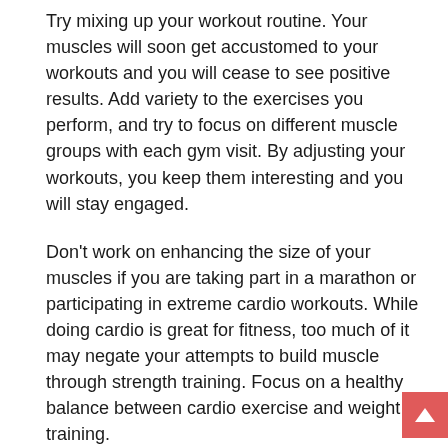Try mixing up your workout routine. Your muscles will soon get accustomed to your workouts and you will cease to see positive results. Add variety to the exercises you perform, and try to focus on different muscle groups with each gym visit. By adjusting your workouts, you keep them interesting and you will stay engaged.
Don't work on enhancing the size of your muscles if you are taking part in a marathon or participating in extreme cardio workouts. While doing cardio is great for fitness, too much of it may negate your attempts to build muscle through strength training. Focus on a healthy balance between cardio exercise and weight training.
Focus on your nutrition and calorie intake on the days that you will be do muscle building exercises. Consume a large amount of nutritionally dense calories about one hour before starting your exercise regimen. Make sure that you don't eat in excess but that you moderately gauge how much you're eating and plan your meals on the days you workout, accordingly.